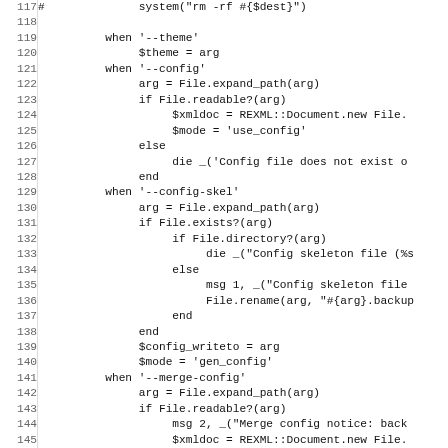[Figure (other): Source code listing in Ruby showing lines 117-148 of a configuration parsing script with line numbers on the left and code on the right.]